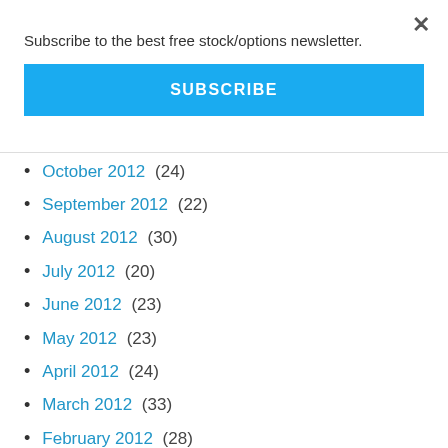Subscribe to the best free stock/options newsletter.
SUBSCRIBE
October 2012 (24)
September 2012 (22)
August 2012 (30)
July 2012 (20)
June 2012 (23)
May 2012 (23)
April 2012 (24)
March 2012 (33)
February 2012 (28)
January 2012 (26)
December 2011 (23)